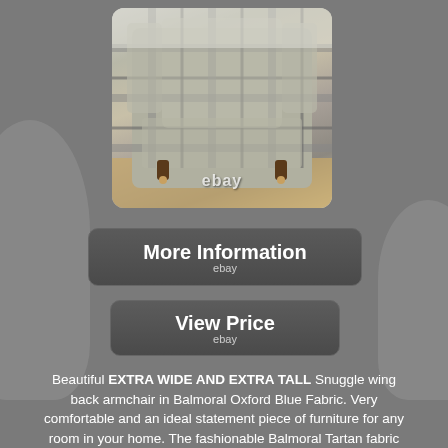[Figure (photo): Tartan plaid wing back armchair with wooden legs on a light wood floor, with eBay watermark]
[Figure (other): More Information button with eBay label]
[Figure (other): View Price button with eBay label]
Beautiful EXTRA WIDE AND EXTRA TALL Snuggle wing back armchair in Balmoral Oxford Blue Fabric. Very comfortable and an ideal statement piece of furniture for any room in your home. The fashionable Balmoral Tartan fabric used